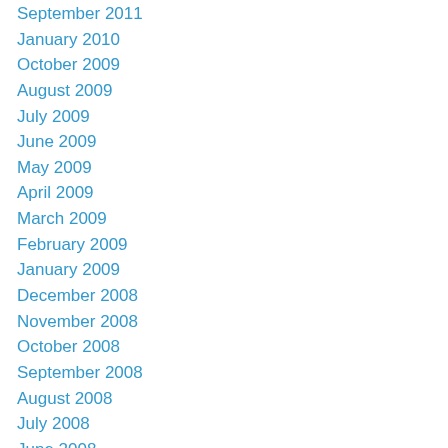September 2011
January 2010
October 2009
August 2009
July 2009
June 2009
May 2009
April 2009
March 2009
February 2009
January 2009
December 2008
November 2008
October 2008
September 2008
August 2008
July 2008
June 2008
May 2008
April 2008